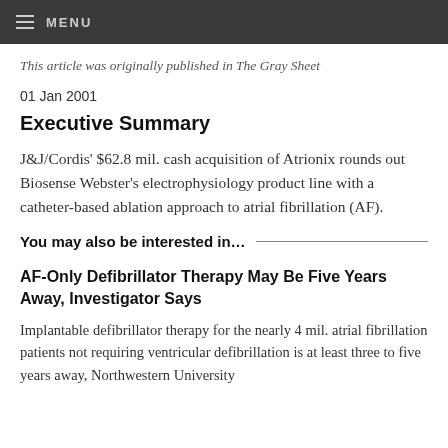☰ MENU
This article was originally published in The Gray Sheet
01 Jan 2001
Executive Summary
J&J/Cordis' $62.8 mil. cash acquisition of Atrionix rounds out Biosense Webster's electrophysiology product line with a catheter-based ablation approach to atrial fibrillation (AF).
You may also be interested in…
AF-Only Defibrillator Therapy May Be Five Years Away, Investigator Says
Implantable defibrillator therapy for the nearly 4 mil. atrial fibrillation patients not requiring ventricular defibrillation is at least three to five years away, Northwestern University electrophysiologist Alan Kadish, MD, indicated at the